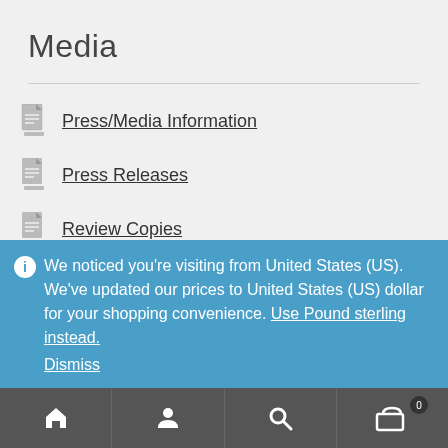Media
Press/Media Information
Press Releases
Review Copies
Trade Information
Inspection Copies
We noticed you're visiting from United States (US). We've updated our prices to United States (US) dollar for your shopping convenience. Use Pound sterling instead. Dismiss
Home | Account | Search | Cart (0)